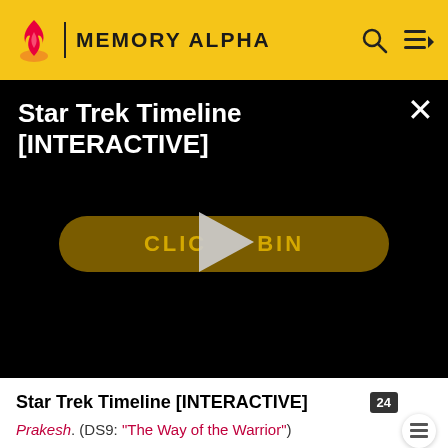MEMORY ALPHA
[Figure (screenshot): Star Trek Timeline [INTERACTIVE] video overlay with play button and CLICK TO BEGIN button on black background]
Star Trek Trek Timeline [INTERACTIVE]
Prakesh. (DS9: "The Way of the Warrior")
Sisko ordered Chief O'Brien to rig the Defiant's two atmospheric probes with quantum torpedo warheads